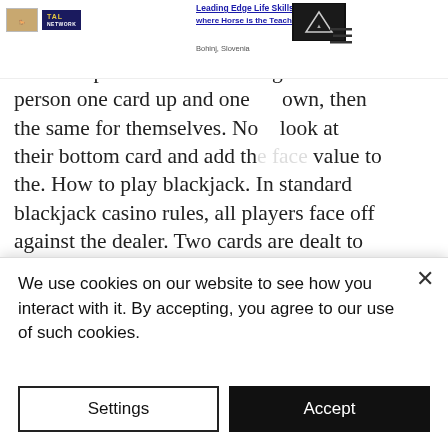Leading Edge Life Skills Learning — where Horse is the Teacher, Bohinj, Slovenia
online, there are a few things to consider like choosing the right platform and the right software provider. The dealer gives the other person one card up and one face down, then the same for themselves. Now look at their bottom card and add the face value to the. How to play blackjack. In standard blackjack casino rules, all players face off against the dealer. Two cards are dealt to each player and two to the dealer. I've focused on playing at a casino, but the same strategies apply if you're playing online or at a home game. The basic rules of blackjack. Each player first receives two cards and then draws as many cards as they want. The
We use cookies on our website to see how you interact with it. By accepting, you agree to our use of such cookies.